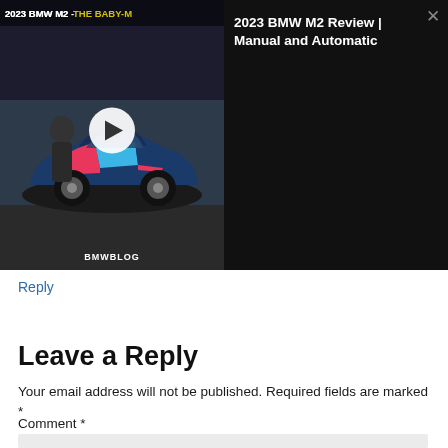[Figure (screenshot): Video thumbnail of 2023 BMW M2 'Baby-M' with play button overlay and BMWBLOG watermark. Car is shown with colorful wrap livery, person standing beside it in a parking area.]
2023 BMW M2 Review | Manual and Automatic
Reply
Leave a Reply
Your email address will not be published. Required fields are marked *
Comment *